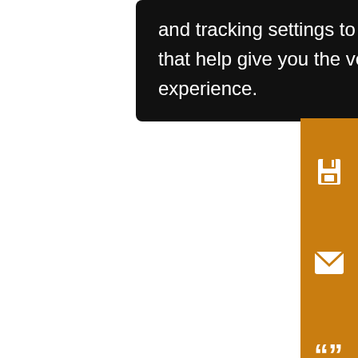and tracking settings to store information that help give you the very best browsing experience.
[Figure (screenshot): Orange vertical sidebar with five white icons: save (floppy disk), email (envelope), quote (speech marks), alert-off (bell with slash), and share (network share icon)]
acc IGE fore eve bro (EE dec nee